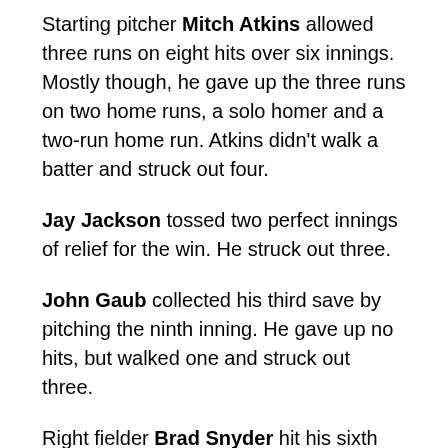Starting pitcher Mitch Atkins allowed three runs on eight hits over six innings. Mostly though, he gave up the three runs on two home runs, a solo homer and a two-run home run. Atkins didn't walk a batter and struck out four.
Jay Jackson tossed two perfect innings of relief for the win. He struck out three.
John Gaub collected his third save by pitching the ninth inning. He gave up no hits, but walked one and struck out three.
Right fielder Brad Snyder hit his sixth home run in the fourth inning. Snyder was 2 for 3 with a triple, the home run and a walk. He scored three times and had the one RBI.